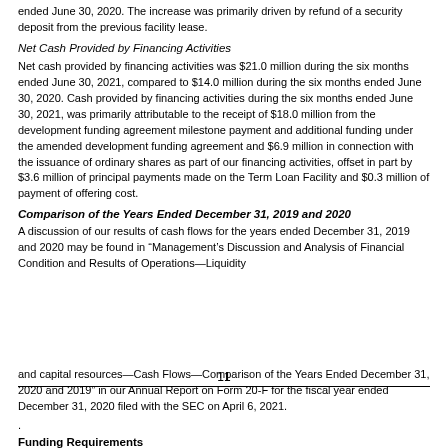ended June 30, 2020. The increase was primarily driven by refund of a security deposit from the previous facility lease.
Net Cash Provided by Financing Activities
Net cash provided by financing activities was $21.0 million during the six months ended June 30, 2021, compared to $14.0 million during the six months ended June 30, 2020. Cash provided by financing activities during the six months ended June 30, 2021, was primarily attributable to the receipt of $18.0 million from the development funding agreement milestone payment and additional funding under the amended development funding agreement and $6.9 million in connection with the issuance of ordinary shares as part of our financing activities, offset in part by $3.6 million of principal payments made on the Term Loan Facility and $0.3 million of payment of offering cost.
Comparison of the Years Ended December 31, 2019 and 2020
A discussion of our results of cash flows for the years ended December 31, 2019 and 2020 may be found in “Management’s Discussion and Analysis of Financial Condition and Results of Operations—Liquidity
11
and capital resources—Cash Flows—Comparison of the Years Ended December 31, 2020 and 2019” in our Annual Report on Form 20-F for the fiscal year ended December 31, 2020 filed with the SEC on April 6, 2021.
.
Funding Requirements